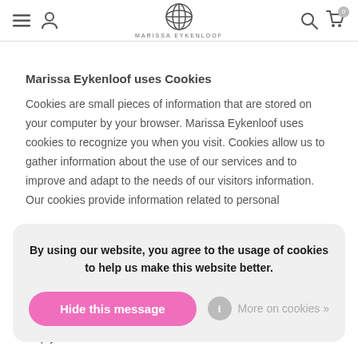Marissa Eykenloof navigation bar with logo, hamburger menu, user icon, search, cart
Marissa Eykenloof uses Cookies
Cookies are small pieces of information that are stored on your computer by your browser. Marissa Eykenloof uses cookies to recognize you when you visit. Cookies allow us to gather information about the use of our services and to improve and adapt to the needs of our visitors information. Our cookies provide information related to personal
By using our website, you agree to the usage of cookies to help us make this website better.
please don’t hesitate to contact us. Our customer service will help you.